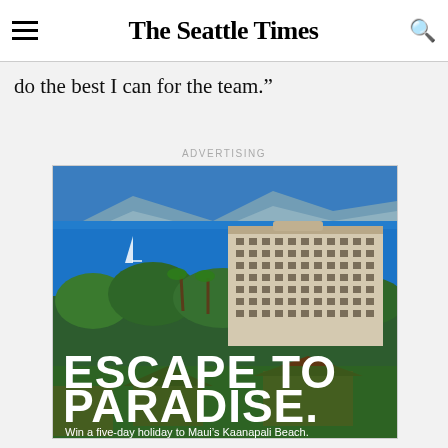The Seattle Times
do the best I can for the team.”
ADVERTISING
[Figure (photo): An aerial view of a large beachfront hotel resort in Maui with a bright blue ocean backdrop, tropical trees and greenery in the foreground. Overlay text reads: ESCAPE TO PARADISE. Win a five-day holiday to Maui’s Kaanapali Beach. Button: ENTER TO WIN ►]